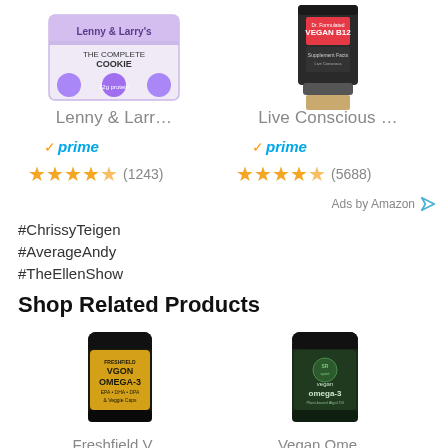[Figure (photo): Lenny & Larry product box - protein cookies/bars]
[Figure (photo): Live Conscious Vegan B12 supplement bottle]
Lenny & Larr…
Live Conscious …
✓prime
✓prime
★★★★★½ (1243)
★★★★★½ (5688)
Ads by Amazon
#ChrissyTeigen
#AverageAndy
#TheEllenShow
Shop Related Products
[Figure (photo): Freshfield Vegan Omega-3 supplement bottle with yellow label]
[Figure (photo): Sport Research Vegan Omega-3 supplement bottle, dark green]
Freshfield V…
Vegan Ome…